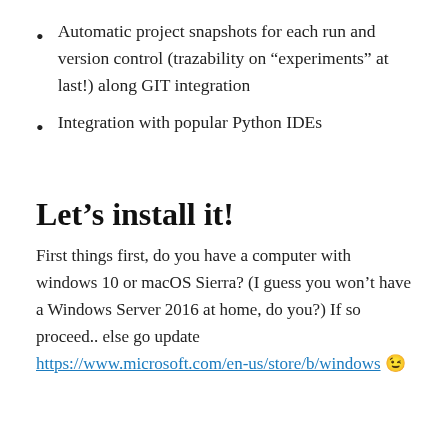Automatic project snapshots for each run and version control (trazability on “experiments” at last!) along GIT integration
Integration with popular Python IDEs
Let’s install it!
First things first, do you have a computer with windows 10 or macOS Sierra? (I guess you won’t have a Windows Server 2016 at home, do you?) If so proceed.. else go update https://www.microsoft.com/en-us/store/b/windows 😉